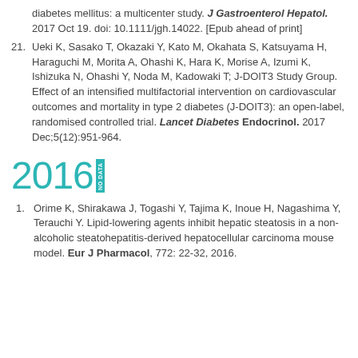diabetes mellitus: a multicenter study. J Gastroenterol Hepatol. 2017 Oct 19. doi: 10.1111/jgh.14022. [Epub ahead of print]
21. Ueki K, Sasako T, Okazaki Y, Kato M, Okahata S, Katsuyama H, Haraguchi M, Morita A, Ohashi K, Hara K, Morise A, Izumi K, Ishizuka N, Ohashi Y, Noda M, Kadowaki T; J-DOIT3 Study Group. Effect of an intensified multifactorial intervention on cardiovascular outcomes and mortality in type 2 diabetes (J-DOIT3): an open-label, randomised controlled trial. Lancet Diabetes Endocrinol. 2017 Dec;5(12):951-964.
2016
1. Orime K, Shirakawa J, Togashi Y, Tajima K, Inoue H, Nagashima Y, Terauchi Y. Lipid-lowering agents inhibit hepatic steatosis in a non-alcoholic steatohepatitis-derived hepatocellular carcinoma mouse model. Eur J Pharmacol, 772: 22-32, 2016.